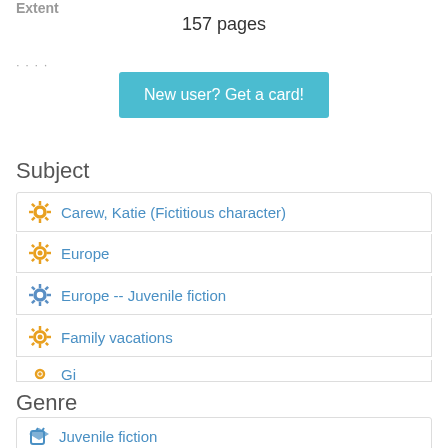Extent
157 pages
...
New user? Get a card!
Subject
Carew, Katie (Fictitious character)
Europe
Europe -- Juvenile fiction
Family vacations
Gi...
Genre
Juvenile fiction
Member of
Katie Kazoo, switcheroo